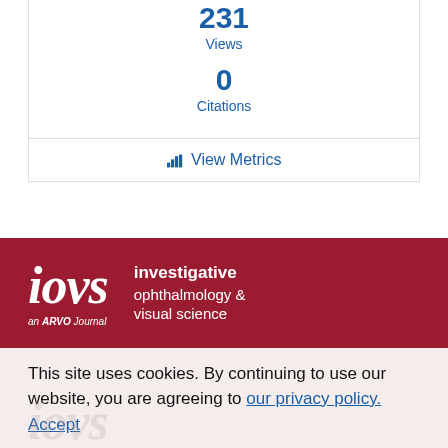231 Views
0 Citations
View Metrics
Advertisement
[Figure (logo): IOVS - Investigative Ophthalmology & Visual Science, an ARVO Journal logo on dark red background]
This site uses cookies. By continuing to use our website, you are agreeing to our privacy policy. Accept